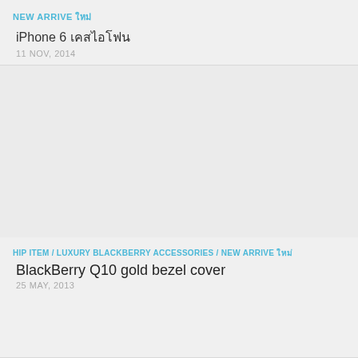NEW ARRIVE ใหม่
iPhone 6 เคสไอโฟน
11 NOV, 2014
[Figure (photo): Large image area, light gray placeholder]
HIP ITEM / LUXURY BLACKBERRY ACCESSORIES / NEW ARRIVE ใหม่
BlackBerry Q10 gold bezel cover
25 MAY, 2013